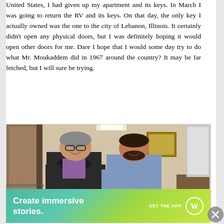United States, I had given up my apartment and its keys. In March I was going to return the RV and its keys. On that day, the only key I actually owned was the one to the city of Lebanon, Illinois. It certainly didn't open any physical doors, but I was definitely hoping it would open other doors for me. Dare I hope that I would some day try to do what Mr. Moukaddem did in 1967 around the country? It may be far fetched, but I will sure be trying.
[Figure (photo): Two men standing indoors, one older man in a dark suit and one younger man in a light blue shirt, appearing to exchange or hold a small object (likely a key) between them. The setting appears to be an office or civic building interior.]
Advertisements
[Figure (other): WordPress advertisement banner with gradient background (teal to yellow-green). Text reads 'Create immersive stories.' with 'GET THE APP' and the WordPress circular logo on the right.]